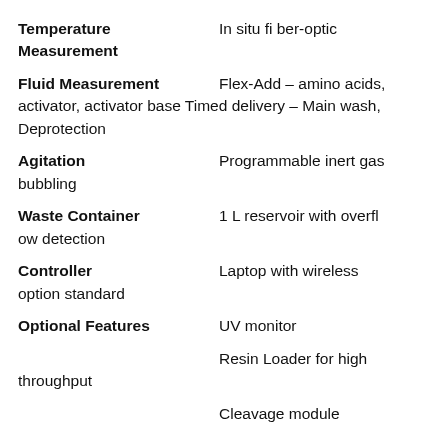Temperature Measurement: In situ fi ber-optic
Fluid Measurement: Flex-Add – amino acids, activator, activator base Timed delivery – Main wash, Deprotection
Agitation: Programmable inert gas bubbling
Waste Container: 1 L reservoir with overflow detection
Controller: Laptop with wireless option standard
Optional Features: UV monitor
Resin Loader for high throughput
Cleavage module